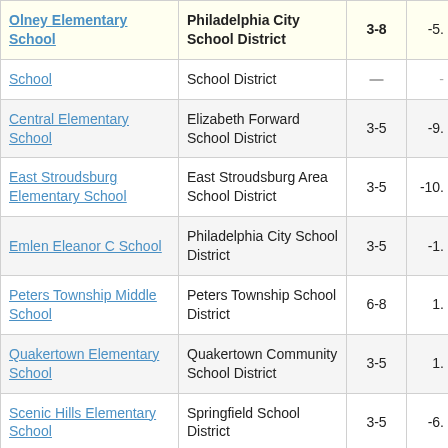| School | District | Grades | Score |
| --- | --- | --- | --- |
| Olney Elementary School | Philadelphia City School District | 3-8 | -5. |
| School | School District |  | - |
| Central Elementary School | Elizabeth Forward School District | 3-5 | -9. |
| East Stroudsburg Elementary School | East Stroudsburg Area School District | 3-5 | -10. |
| Emlen Eleanor C School | Philadelphia City School District | 3-5 | -1. |
| Peters Township Middle School | Peters Township School District | 6-8 | 1. |
| Quakertown Elementary School | Quakertown Community School District | 3-5 | 1. |
| Scenic Hills Elementary School | Springfield School District | 3-5 | -6. |